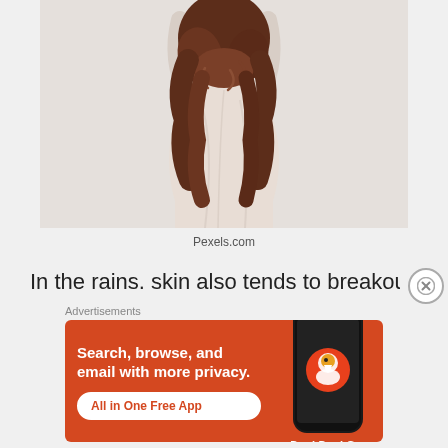[Figure (photo): Woman viewed from behind wearing a light beige/cream long dress with long dark curly hair, arms raised, against a white/light grey background.]
Pexels.com
In the rains. skin also tends to breakout a lot. People
Advertisements
[Figure (infographic): DuckDuckGo advertisement banner on orange background. Text reads: Search, browse, and email with more privacy. All in One Free App. Shows a phone mockup with DuckDuckGo logo and branding.]